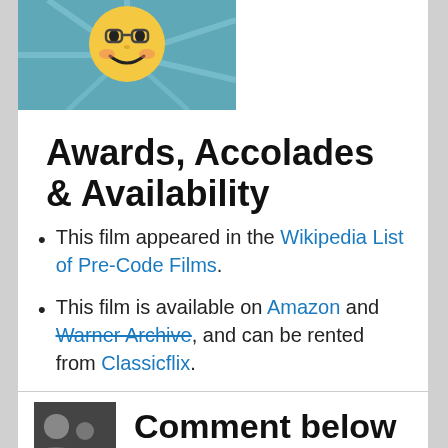[Figure (illustration): Cartoon smiling sun face with rays on a teal/blue background, cropped at top]
Awards, Accolades & Availability
This film appeared in the Wikipedia List of Pre-Code Films.
This film is available on Amazon and Warner Archive, and can be rented from Classicflix.
[Figure (photo): Small black and white thumbnail photo]
Comment below or join our email